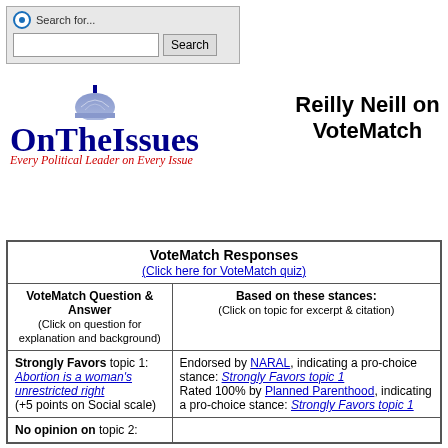[Figure (screenshot): Search bar with radio button, text input, and Search button]
[Figure (logo): OnTheIssues logo with capitol dome, text 'OnTheIssues Every Political Leader on Every Issue']
Reilly Neill on VoteMatch
| VoteMatch Responses (Click here for VoteMatch quiz) |
| --- |
| VoteMatch Question & Answer (Click on question for explanation and background) | Based on these stances: (Click on topic for excerpt & citation) |
| Strongly Favors topic 1: Abortion is a woman's unrestricted right (+5 points on Social scale) | Endorsed by NARAL, indicating a pro-choice stance: Strongly Favors topic 1
Rated 100% by Planned Parenthood, indicating a pro-choice stance: Strongly Favors topic 1 |
| No opinion on topic 2: |  |